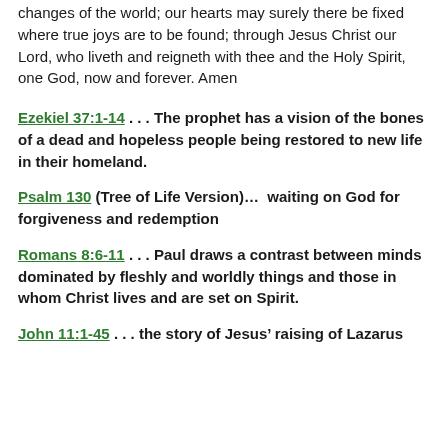changes of the world; our hearts may surely there be fixed where true joys are to be found; through Jesus Christ our Lord, who liveth and reigneth with thee and the Holy Spirit, one God, now and forever. Amen
Ezekiel 37:1-14 . . . The prophet has a vision of the bones of a dead and hopeless people being restored to new life in their homeland.
Psalm 130 (Tree of Life Version). . .  waiting on God for forgiveness and redemption
Romans 8:6-11 . . . Paul draws a contrast between minds dominated by fleshly and worldly things and those in whom Christ lives and are set on Spirit.
John 11:1-45 . . . the story of Jesus' raising of Lazarus